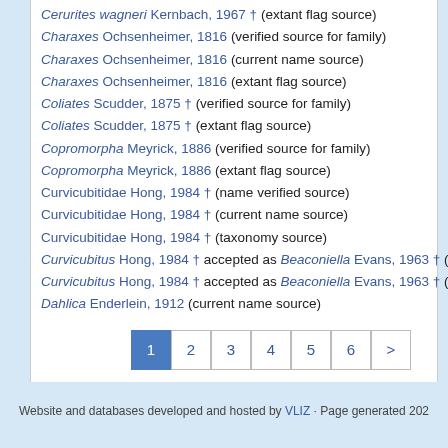Cerurites wagneri Kernbach, 1967 † (extant flag source)
Charaxes Ochsenheimer, 1816 (verified source for family)
Charaxes Ochsenheimer, 1816 (current name source)
Charaxes Ochsenheimer, 1816 (extant flag source)
Coliates Scudder, 1875 † (verified source for family)
Coliates Scudder, 1875 † (extant flag source)
Copromorpha Meyrick, 1886 (verified source for family)
Copromorpha Meyrick, 1886 (extant flag source)
Curvicubitidae Hong, 1984 † (name verified source)
Curvicubitidae Hong, 1984 † (current name source)
Curvicubitidae Hong, 1984 † (taxonomy source)
Curvicubitus Hong, 1984 † accepted as Beaconiella Evans, 1963 † (v...
Curvicubitus Hong, 1984 † accepted as Beaconiella Evans, 1963 † (c...
Dahlica Enderlein, 1912 (current name source)
[Figure (other): Pagination controls showing pages 1 through 6 and > with page 1 highlighted in blue]
Website and databases developed and hosted by VLIZ · Page generated 202...